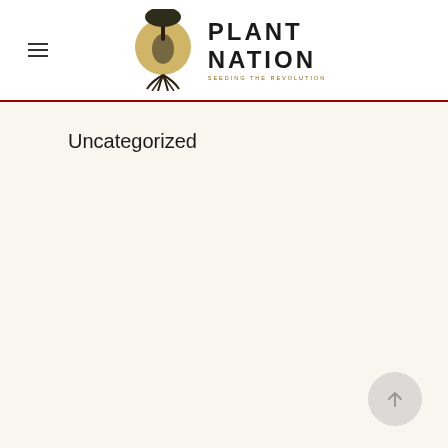Plant Nation — Seeding the Revolution
Uncategorized
[Figure (other): Scroll to top button — circular button with upward arrow icon in bottom right corner]